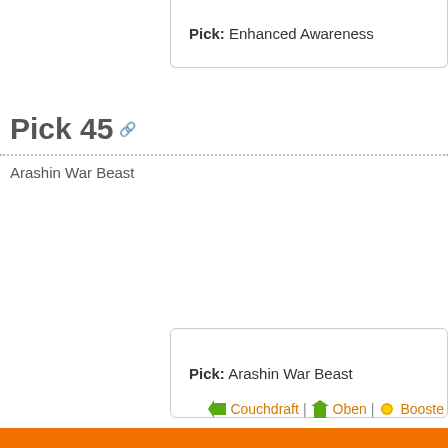Pick: Enhanced Awareness
Pick 45
Arashin War Beast
Pick: Arashin War Beast
Couchdraft | Oben | Booste